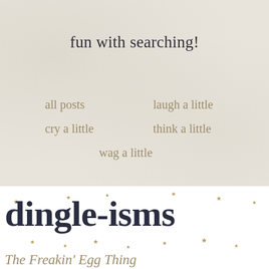fun with searching!
all posts
laugh a little
cry a little
think a little
wag a little
dingle-isms
The Freakin' Egg Thing